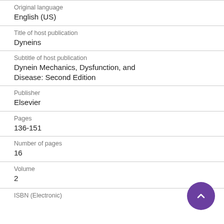Original language
English (US)
Title of host publication
Dyneins
Subtitle of host publication
Dynein Mechanics, Dysfunction, and Disease: Second Edition
Publisher
Elsevier
Pages
136-151
Number of pages
16
Volume
2
ISBN (Electronic)